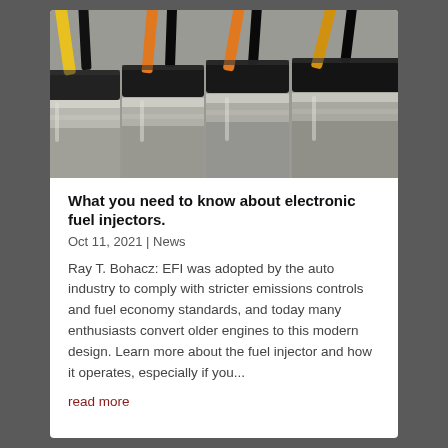[Figure (photo): Close-up photograph of multiple electronic fuel injectors showing black connectors with yellow and orange wiring, silver metal bodies with visible machining, mounted in an engine]
What you need to know about electronic fuel injectors.
Oct 11, 2021 | News
Ray T. Bohacz: EFI was adopted by the auto industry to comply with stricter emissions controls and fuel economy standards, and today many enthusiasts convert older engines to this modern design. Learn more about the fuel injector and how it operates, especially if you...
read more